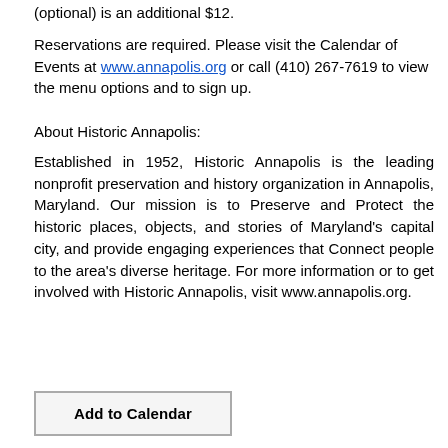(optional) is an additional $12.
Reservations are required. Please visit the Calendar of Events at www.annapolis.org or call (410) 267-7619 to view the menu options and to sign up.
About Historic Annapolis:
Established in 1952, Historic Annapolis is the leading nonprofit preservation and history organization in Annapolis, Maryland. Our mission is to Preserve and Protect the historic places, objects, and stories of Maryland's capital city, and provide engaging experiences that Connect people to the area's diverse heritage. For more information or to get involved with Historic Annapolis, visit www.annapolis.org.
Add to Calendar